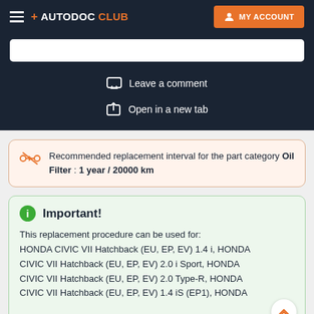+ AUTODOC CLUB  MY ACCOUNT
Leave a comment
Open in a new tab
Recommended replacement interval for the part category Oil Filter : 1 year / 20000 km
Important!
This replacement procedure can be used for: HONDA CIVIC VII Hatchback (EU, EP, EV) 1.4 i, HONDA CIVIC VII Hatchback (EU, EP, EV) 2.0 i Sport, HONDA CIVIC VII Hatchback (EU, EP, EV) 2.0 Type-R, HONDA CIVIC VII Hatchback (EU, EP, EV) 1.4 iS (EP1), HONDA